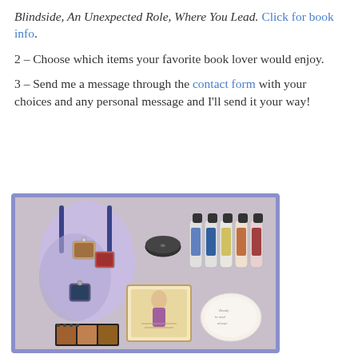Blindside, An Unexpected Role, Where You Lead. Click for book info.
2 – Choose which items your favorite book lover would enjoy.
3 – Send me a message through the contact form with your choices and any personal message and I'll send it your way!
[Figure (photo): Flat lay photo of book-themed gift items including a tote bag, keychains, small round tin, roll-on essential oil bottles with illustrated labels, a framed art print, and a small round ceramic dish, arranged on a light surface, surrounded by a blue-purple border.]